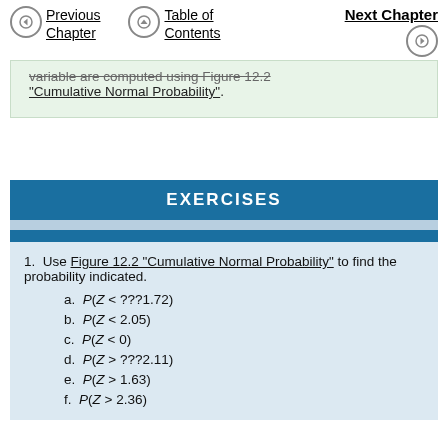Previous Chapter | Table of Contents | Next Chapter
variable are computed using Figure 12.2 "Cumulative Normal Probability".
EXERCISES
1. Use Figure 12.2 "Cumulative Normal Probability" to find the probability indicated.
a. P(Z < ???1.72)
b. P(Z < 2.05)
c. P(Z < 0)
d. P(Z > ???2.11)
e. P(Z > 1.63)
f. P(Z > 2.36)